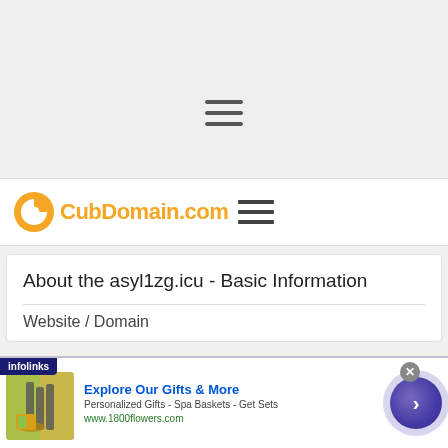[Figure (screenshot): Top gray area with hamburger menu icon]
CubDomain.com
About the asyl1zg.icu - Basic Information
Website / Domain
[Figure (infographic): Advertisement banner from infolinks: Explore Our Gifts & More - Personalized Gifts - Spa Baskets - Get Sets - www.1800flowers.com]